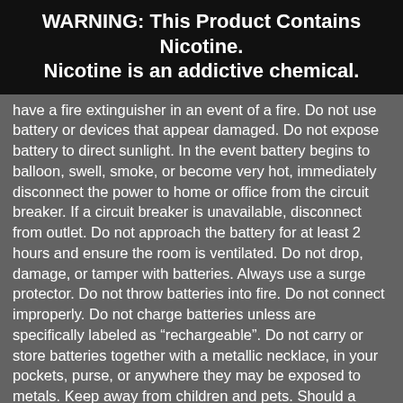WARNING: This Product Contains Nicotine. Nicotine is an addictive chemical.
have a fire extinguisher in an event of a fire. Do not use battery or devices that appear damaged. Do not expose battery to direct sunlight. In the event battery begins to balloon, swell, smoke, or become very hot, immediately disconnect the power to home or office from the circuit breaker. If a circuit breaker is unavailable, disconnect from outlet. Do not approach the battery for at least 2 hours and ensure the room is ventilated. Do not drop, damage, or tamper with batteries. Always use a surge protector. Do not throw batteries into fire. Do not connect improperly. Do not charge batteries unless are specifically labeled as “rechargeable”. Do not carry or store batteries together with a metallic necklace, in your pockets, purse, or anywhere they may be exposed to metals. Keep away from children and pets. Should a child/pet swallow or chew on a battery, immediately consult a physician and or call your local Poison Control Center. Always turn off vaping devices with on/off switches when not in use. Unplug charging units when not in use. Failure to follow warnings may result in electric shock, fire, property damage, bodily injury, or death. All Prices listed on the main site products are base prices